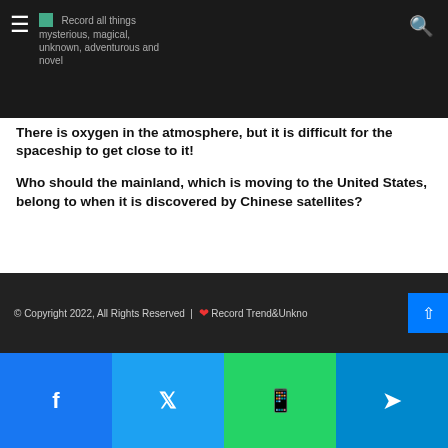Record all things mysterious, magical, unknown, adventurous and novel
There is oxygen in the atmosphere, but it is difficult for the spaceship to get close to it!
Who should the mainland, which is moving to the United States, belong to when it is discovered by Chinese satellites?
Remember the chimpanzee with the finger mutation? Almost the same as humans, is it still evolving?
Using magma to wash hands, make mask, but without injury, what is “super power”?
© Copyright 2022, All Rights Reserved | ♥ Record Trend&Unknown